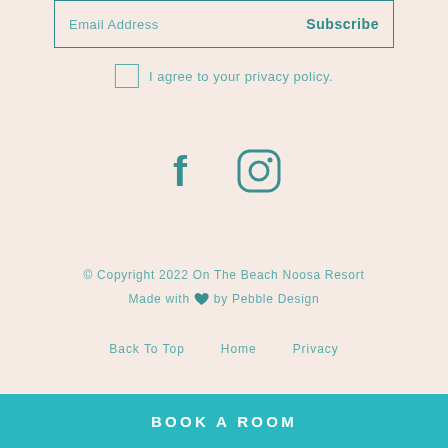[Figure (screenshot): Email address input field with Subscribe button, styled with teal border]
I agree to your privacy policy.
[Figure (illustration): Facebook and Instagram social media icons in teal color]
© Copyright 2022 On The Beach Noosa Resort
Made with ♥ by Pebble Design
Back To Top   Home   Privacy
BOOK A ROOM